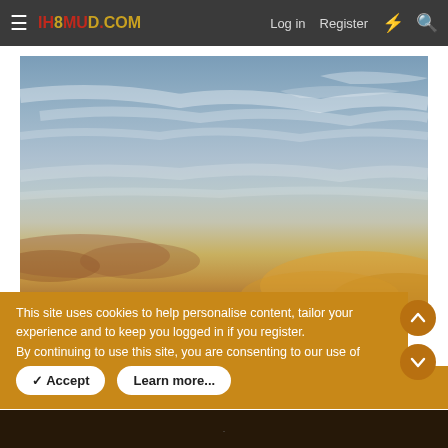IH8MUD.COM  Log in  Register
[Figure (photo): Outdoor sky photo showing blue sky with wispy clouds and warm golden-orange sunset colors near the horizon]
This site uses cookies to help personalise content, tailor your experience and to keep you logged in if you register.
By continuing to use this site, you are consenting to our use of cookies.
Accept   Learn more...